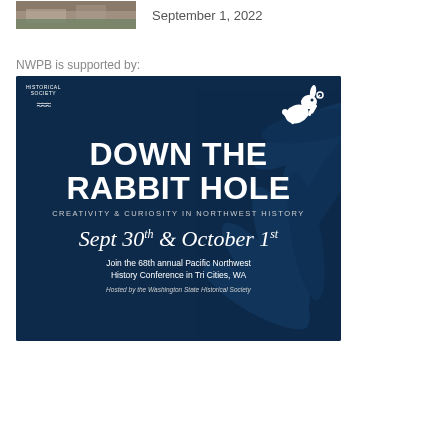[Figure (photo): Partial photo of an outdoor scene, cropped at top]
September 1, 2022
NWPB is supported by:
[Figure (illustration): Advertisement for 'Down the Rabbit Hole: Creativity & Curiosity in Northwest History' — 68th annual Pacific Northwest History Conference, Sept 30th & October 1st, in Tri Cities, WA. Hosted by the Washington State Historical Society. Dark blue background with swirl pattern and jumping rabbit icon. Historical Society logo in top left.]